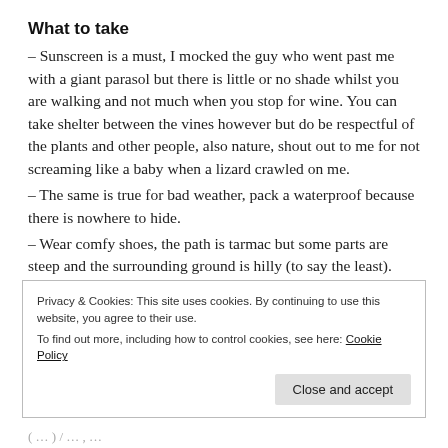What to take
– Sunscreen is a must, I mocked the guy who went past me with a giant parasol but there is little or no shade whilst you are walking and not much when you stop for wine. You can take shelter between the vines however but do be respectful of the plants and other people, also nature, shout out to me for not screaming like a baby when a lizard crawled on me.
– The same is true for bad weather, pack a waterproof because there is nowhere to hide.
– Wear comfy shoes, the path is tarmac but some parts are steep and the surrounding ground is hilly (to say the least).
– Take cash, there is no cash point in a vineyard
Privacy & Cookies: This site uses cookies. By continuing to use this website, you agree to their use.
To find out more, including how to control cookies, see here: Cookie Policy